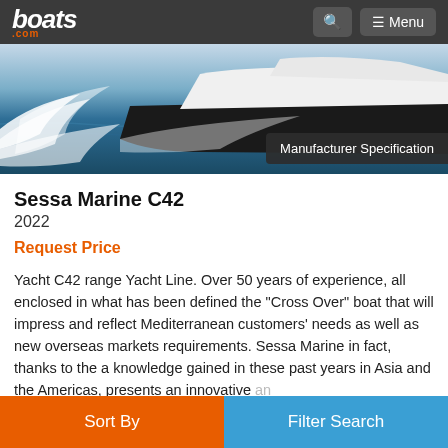boats.com — Menu
[Figure (photo): Speedboat making large wake/spray on ocean water, aerial/side view. Badge overlay reads 'Manufacturer Specification'.]
Sessa Marine C42
2022
Request Price
Yacht C42 range Yacht Line. Over 50 years of experience, all enclosed in what has been defined the "Cross Over" boat that will impress and reflect Mediterranean customers' needs as well as new overseas markets requirements. Sessa Marine in fact, thanks to the a knowledge gained in these past years in Asia and the Americas, presents an innovative and
More…
Sort By  |  Filter Search